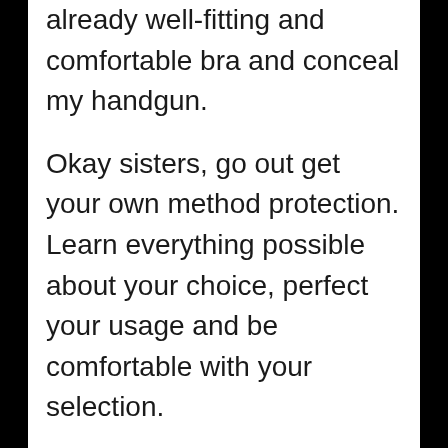already well-fitting and comfortable bra and conceal my handgun.
Okay sisters, go out get your own method protection. Learn everything possible about your choice, perfect your usage and be comfortable with your selection.
* This guest post is brought to you by our friend Mimi M *